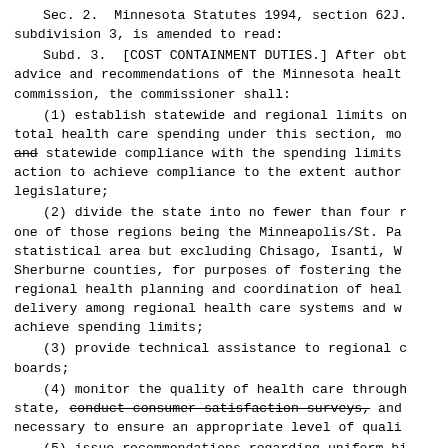Sec. 2.  Minnesota Statutes 1994, section 62J. subdivision 3, is amended to read:
Subd. 3.  [COST CONTAINMENT DUTIES.] After obt advice and recommendations of the Minnesota healt commission, the commissioner shall:
(1) establish statewide and regional limits on total health care spending under this section, mo and statewide compliance with the spending limits action to achieve compliance to the extent author legislature;
(2) divide the state into no fewer than four r one of those regions being the Minneapolis/St. Pa statistical area but excluding Chisago, Isanti, W Sherburne counties, for purposes of fostering the regional health planning and coordination of heal delivery among regional health care systems and w achieve spending limits;
(3) provide technical assistance to regional c boards;
(4) monitor the quality of health care through state, conduct consumer satisfaction surveys, and necessary to ensure an appropriate level of quali
(5) issue recommendations regarding uniform bi uniform electronic billing procedures and data in patient identification cards, and other uniform c